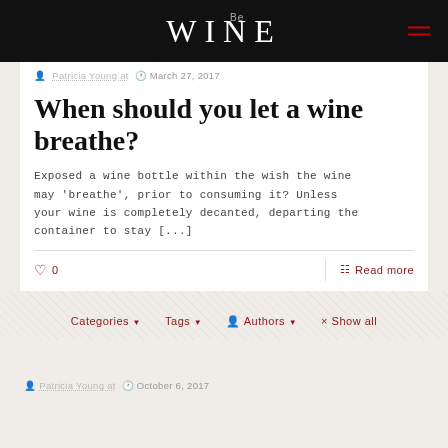Be WINE
Patricia Young at  March 27, 2017
When should you let a wine breathe?
Exposed a wine bottle within the wish the wine may 'breathe', prior to consuming it? Unless your wine is completely decanted, departing the container to stay [...]
0   Read more
Categories ▼   Tags ▼   Authors ▼   × Show all
Patricia Young at  October 6, 2017